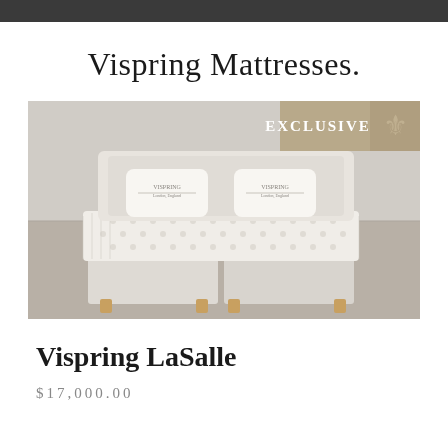Vispring Mattresses.
[Figure (photo): A luxury Vispring mattress and bed set displayed in a room, with two pillows bearing the Vispring logo, intricate tufted mattress surface, and a beige upholstered base. An 'EXCLUSIVE' badge appears in the top right corner of the image.]
Vispring LaSalle
$17,000.00